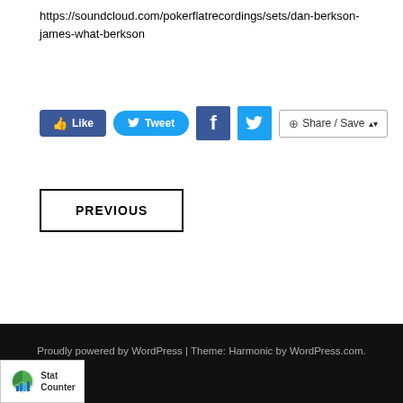https://soundcloud.com/pokerflatrecordings/sets/dan-berkson-james-what-berkson
[Figure (screenshot): Social sharing buttons: Like (Facebook blue), Tweet (Twitter blue rounded), Facebook icon (blue square), Twitter bird icon (blue square), Share/Save dropdown button]
PREVIOUS
Proudly powered by WordPress | Theme: Harmonic by WordPress.com.
[Figure (logo): StatCounter logo - green pie chart icon with bar chart, text reads Stat Counter]